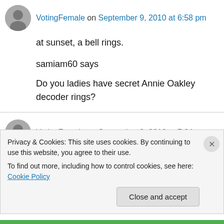VotingFemale on September 9, 2010 at 6:58 pm
at sunset, a bell rings.
samiam60 says
Do you ladies have secret Annie Oakley decoder rings?
VotingFemale on September 9, 2010 at 7:04 pm
it is reported that Terry Jones has officially
Privacy & Cookies: This site uses cookies. By continuing to use this website, you agree to their use. To find out more, including how to control cookies, see here: Cookie Policy
Close and accept